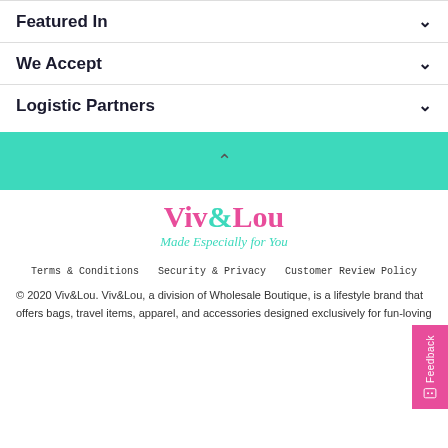Featured In
We Accept
Logistic Partners
[Figure (other): Teal/turquoise accordion expand bar with a chevron-up icon and a pink Feedback tab on the right side]
[Figure (logo): Viv&Lou logo — 'Viv&Lou' in pink with teal ampersand, subtitle 'Made Especially for You' in teal italic script]
Terms & Conditions   Security & Privacy   Customer Review Policy
© 2020 Viv&Lou. Viv&Lou, a division of Wholesale Boutique, is a lifestyle brand that offers bags, travel items, apparel, and accessories designed exclusively for fun-loving